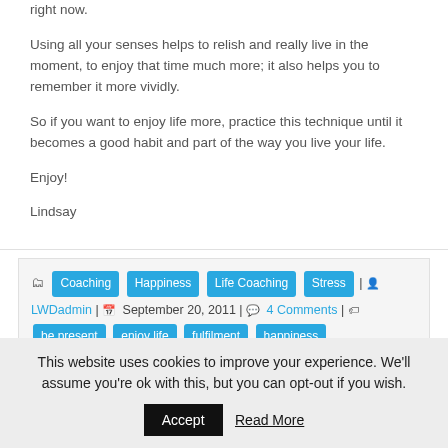right now.
Using all your senses helps to relish and really live in the moment, to enjoy that time much more; it also helps you to remember it more vividly.
So if you want to enjoy life more, practice this technique until it becomes a good habit and part of the way you live your life.
Enjoy!
Lindsay
Coaching | Happiness | Life Coaching | Stress | LWDadmin | September 20, 2011 | 4 Comments | be present | enjoy life | fulfilment | happiness | improve memory | life coaching | live in the moment | NLP | sensory acuity technique | stress
Search ...
This website uses cookies to improve your experience. We'll assume you're ok with this, but you can opt-out if you wish.